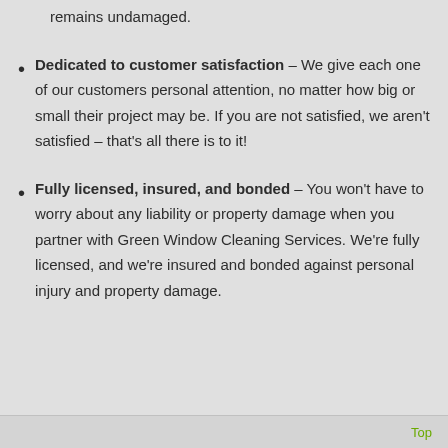remains undamaged.
Dedicated to customer satisfaction – We give each one of our customers personal attention, no matter how big or small their project may be. If you are not satisfied, we aren't satisfied – that's all there is to it!
Fully licensed, insured, and bonded – You won't have to worry about any liability or property damage when you partner with Green Window Cleaning Services. We're fully licensed, and we're insured and bonded against personal injury and property damage.
Top